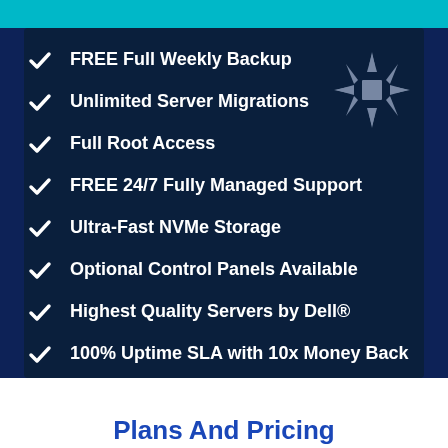FREE Full Weekly Backup
Unlimited Server Migrations
Full Root Access
FREE 24/7 Fully Managed Support
Ultra-Fast NVMe Storage
Optional Control Panels Available
Highest Quality Servers by Dell®
100% Uptime SLA with 10x Money Back
[Figure (logo): Decorative snowflake/compass star logo in gray]
Plans And Pricing